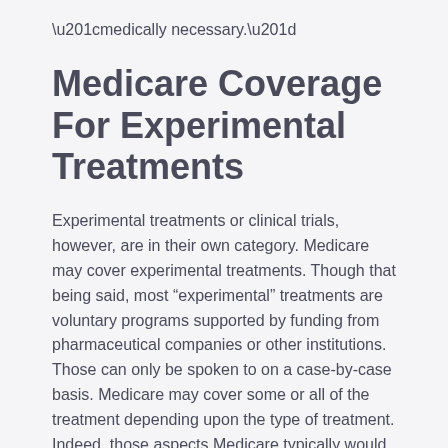“medically necessary.”
Medicare Coverage For Experimental Treatments
Experimental treatments or clinical trials, however, are in their own category. Medicare may cover experimental treatments. Though that being said, most “experimental” treatments are voluntary programs supported by funding from pharmaceutical companies or other institutions. Those can only be spoken to on a case-by-case basis. Medicare may cover some or all of the treatment depending upon the type of treatment. Indeed, those aspects Medicare typically would be covered.
Many years ago, a man was referred to me because he had had some difficulty around this issue of